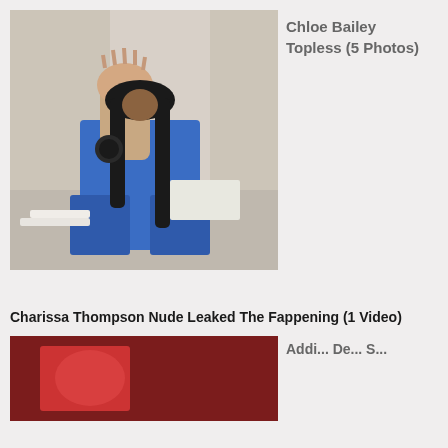[Figure (photo): A person taking a mirror selfie in a bathroom/restroom setting, wearing blue denim outfit with long dark braided hair, hand raised toward mirror.]
Chloe Bailey Topless (5 Photos)
Charissa Thompson Nude Leaked The Fappening (1 Video)
[Figure (photo): Partially visible image at bottom left, appears to be a red-toned photo, cut off.]
Addi... De... S...